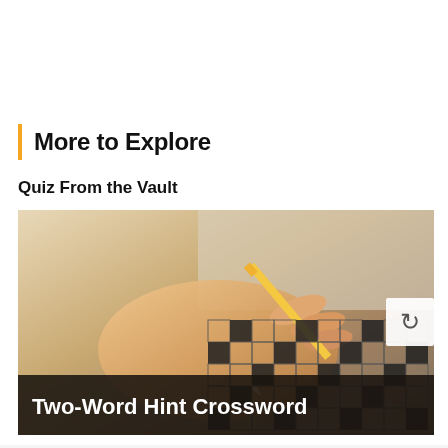More to Explore
Quiz From the Vault
[Figure (photo): A hand holding a yellow pencil writing on a crossword puzzle grid, with a dark overlay banner at the bottom. A refresh/reload button icon appears on the right side of the image.]
Two-Word Hint Crossword